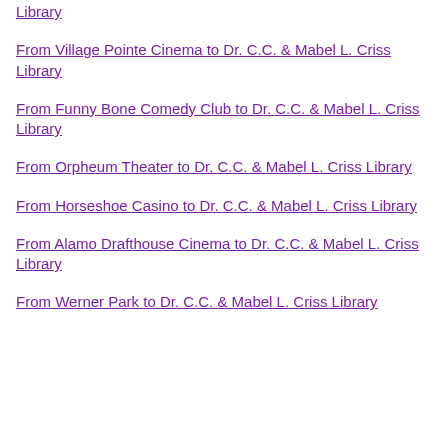Library
From Village Pointe Cinema to Dr. C.C. & Mabel L. Criss Library
From Funny Bone Comedy Club to Dr. C.C. & Mabel L. Criss Library
From Orpheum Theater to Dr. C.C. & Mabel L. Criss Library
From Horseshoe Casino to Dr. C.C. & Mabel L. Criss Library
From Alamo Drafthouse Cinema to Dr. C.C. & Mabel L. Criss Library
From Werner Park to Dr. C.C. & Mabel L. Criss Library